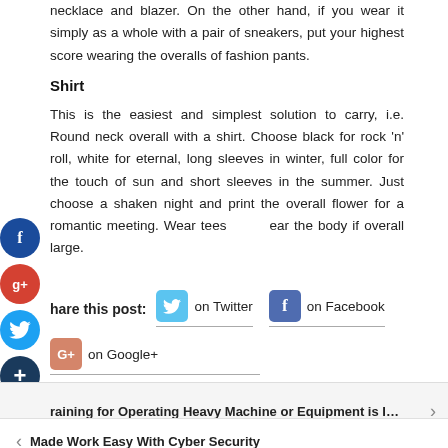necklace and blazer. On the other hand, if you wear it simply as a whole with a pair of sneakers, put your highest score wearing the overalls of fashion pants.
Shirt
This is the easiest and simplest solution to carry, i.e. Round neck overall with a shirt. Choose black for rock 'n' roll, white for eternal, long sleeves in winter, full color for the touch of sun and short sleeves in the summer. Just choose a shaken night and print the overall flower for a romantic meeting. Wear tees ear the body if overall large.
Share this post:  on Twitter  on Facebook  on Google+
Training for Operating Heavy Machine or Equipment is I...
Made Work Easy With Cyber Security